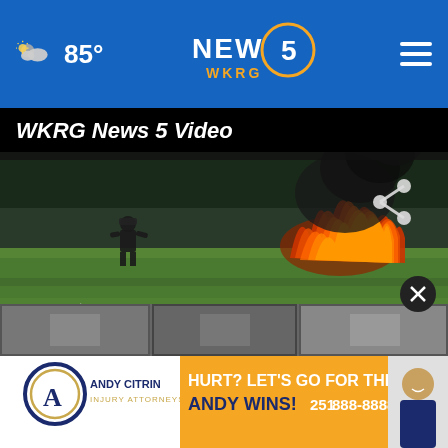85° NEWS 5 WKRG
WKRG News 5 Video
[Figure (photo): News video thumbnail showing a fire burning in a grassy field at night. A firefighter or figure is visible on the left side, and large red-orange flames are visible on the right side with dark smoke. A share icon (arrow with dots) is overlaid in the upper right. A translucent play button triangle is visible in the lower center-left area.]
[Figure (screenshot): Thumbnail strip showing small preview images of other news video segments below the main video player.]
[Figure (other): Advertisement banner for Andy Citrin Injury Attorneys. Left side shows logo with stylized letter A and text 'ANDY CITRIN INJURY ATTORNEYS'. Right side on gold/yellow background reads 'HURT? LET'S GO FOR THE WIN! ANDY WINS! 251 888-8888' with a photo of a smiling man in a suit on the far right.]